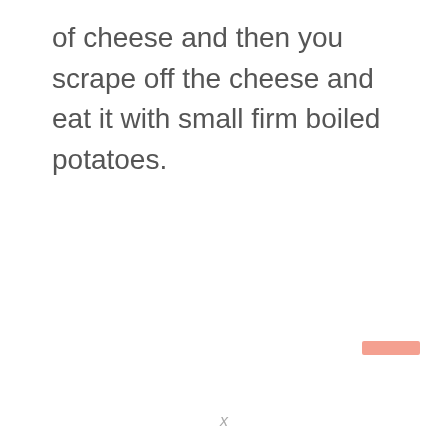of cheese and then you scrape off the cheese and eat it with small firm boiled potatoes.